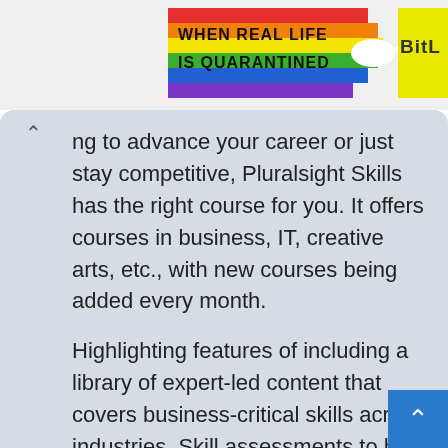[Figure (screenshot): Rainbow-colored banner advertisement with text 'WHEN REAL LIFE IS QUARANTINED' and 'BitL' logo on yellow background, with a white sperm/tadpole graphic element]
ng to advance your career or just stay competitive, Pluralsight Skills has the right course for you. It offers courses in business, IT, creative arts, etc., with new courses being added every month.
Highlighting features of including a library of expert-led content that covers business-critical skills across industries, Skill assessments to help you identify your areas of strength and weakness, personalized learning paths that guide you to the content that's suited to your needs, track your progress as you learn,